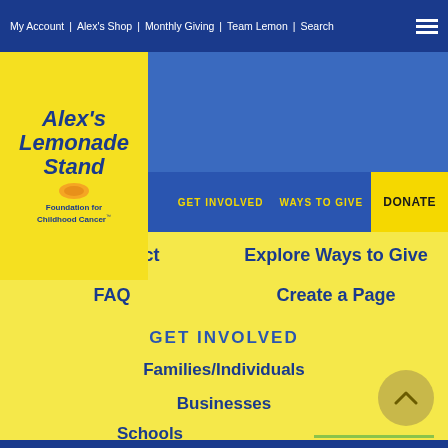My Account | Alex's Shop | Monthly Giving | Team Lemon | Search
[Figure (logo): Alex's Lemonade Stand Foundation for Childhood Cancer logo on yellow background]
GET INVOLVED
WAYS TO GIVE
DONATE
Our Impact
Explore Ways to Give
FAQ
Create a Page
GET INVOLVED
Families/Individuals
Businesses
Schools